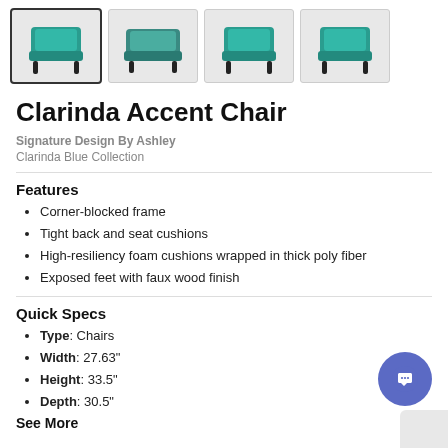[Figure (photo): Four thumbnail images of the Clarinda Accent Chair in teal/blue color, shown from different angles. The first thumbnail is selected with a bold border.]
Clarinda Accent Chair
Signature Design By Ashley
Clarinda Blue Collection
Features
Corner-blocked frame
Tight back and seat cushions
High-resiliency foam cushions wrapped in thick poly fiber
Exposed feet with faux wood finish
Quick Specs
Type: Chairs
Width: 27.63"
Height: 33.5"
Depth: 30.5"
See More